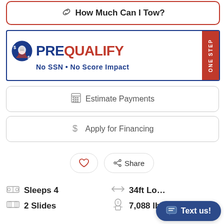How Much Can I Tow?
[Figure (logo): PREQUALIFY ONE STEP - No SSN - No Score Impact banner with knight logo]
Estimate Payments
Apply for Financing
Share
Sleeps 4   34ft Lo...   2 Slides   7,088 lbs